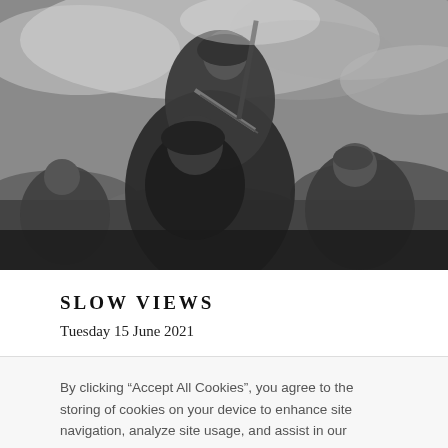[Figure (photo): Black and white photograph of armed men in turbans and traditional clothing, one seated higher up holding a weapon with ammunition belts, others around him, with a cloudy sky and mountains in the background.]
SLOW VIEWS
Tuesday 15 June 2021
By clicking “Accept All Cookies”, you agree to the storing of cookies on your device to enhance site navigation, analyze site usage, and assist in our marketing efforts.